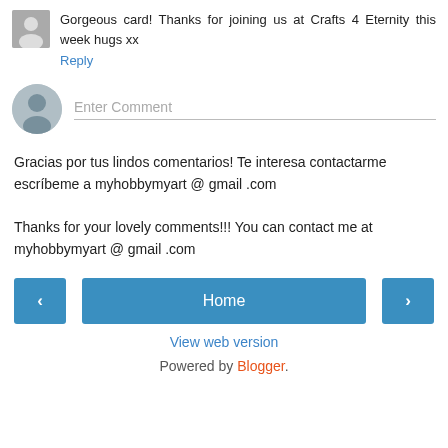Gorgeous card! Thanks for joining us at Crafts 4 Eternity this week hugs xx
Reply
[Figure (other): User avatar placeholder circle icon for comment entry]
Enter Comment
Gracias por tus lindos comentarios! Te interesa contactarme escríbeme a myhobbymyart @ gmail .com

Thanks for your lovely comments!!! You can contact me at myhobbymyart @ gmail .com
Home
View web version
Powered by Blogger.